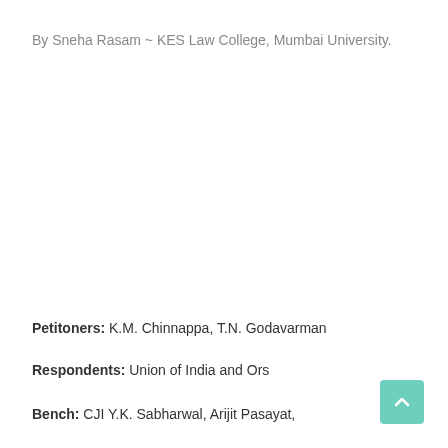By Sneha Rasam ~ KES Law College, Mumbai University.
Petitoners: K.M. Chinnappa, T.N. Godavarman
Respondents: Union of India and Ors
Bench: CJI Y.K. Sabharwal, Arijit Pasayat,